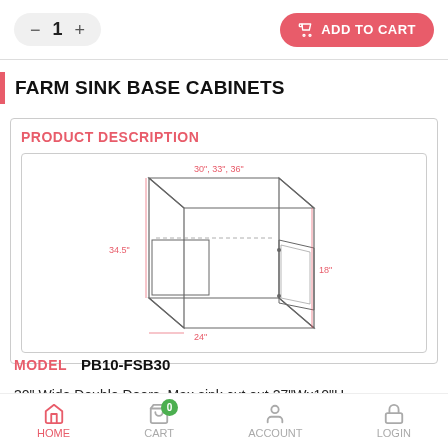[Figure (screenshot): Quantity selector showing minus button, 1, plus button; and red ADD TO CART button with cart icon]
FARM SINK BASE CABINETS
PRODUCT DESCRIPTION
[Figure (engineering-diagram): Line drawing of a farm sink base cabinet showing dimensions: 30", 33", 36" width at top; 34.5" height; 18" depth; 24" label at bottom. Cabinet has open interior and double doors on front.]
MODEL   PB10-FSB30
30" Wide Double Doors. Max sink cut out 27"Wx10"H
HOME   CART   ACCOUNT   LOGIN